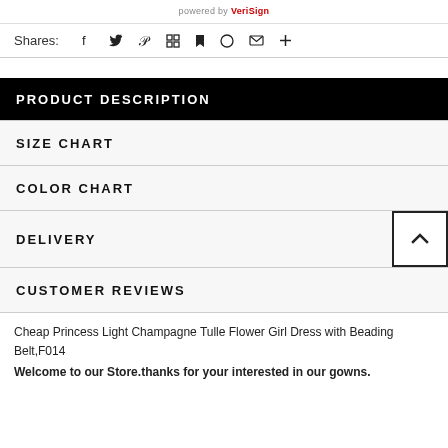powered by VeriSign
Shares:
PRODUCT DESCRIPTION
SIZE CHART
COLOR CHART
DELIVERY
CUSTOMER REVIEWS
Cheap Princess Light Champagne Tulle Flower Girl Dress with Beading Belt,F014
Welcome to our Store.thanks for your interested in our gowns.